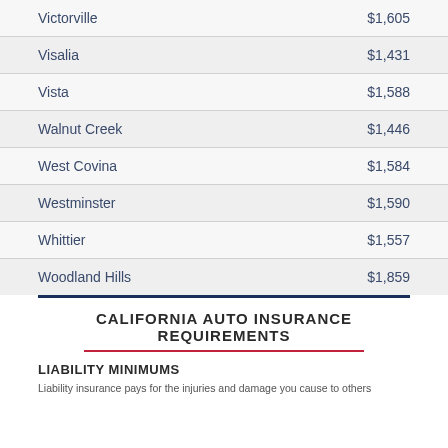| City | Rate |
| --- | --- |
| Victorville | $1,605 |
| Visalia | $1,431 |
| Vista | $1,588 |
| Walnut Creek | $1,446 |
| West Covina | $1,584 |
| Westminster | $1,590 |
| Whittier | $1,557 |
| Woodland Hills | $1,859 |
CALIFORNIA AUTO INSURANCE REQUIREMENTS
LIABILITY MINIMUMS
Liability insurance pays for the injuries and damage you cause to others